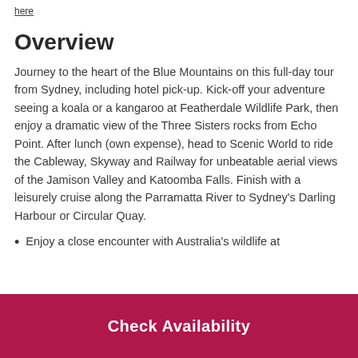here
Overview
Journey to the heart of the Blue Mountains on this full-day tour from Sydney, including hotel pick-up. Kick-off your adventure seeing a koala or a kangaroo at Featherdale Wildlife Park, then enjoy a dramatic view of the Three Sisters rocks from Echo Point. After lunch (own expense), head to Scenic World to ride the Cableway, Skyway and Railway for unbeatable aerial views of the Jamison Valley and Katoomba Falls. Finish with a leisurely cruise along the Parramatta River to Sydney's Darling Harbour or Circular Quay.
Enjoy a close encounter with Australia's wildlife at
Check Availability